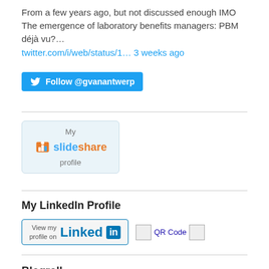From a few years ago, but not discussed enough IMO The emergence of laboratory benefits managers: PBM déjà vu?…
twitter.com/i/web/status/1… 3 weeks ago
[Figure (other): Twitter Follow button: Follow @gvanantwerp]
[Figure (other): SlideShare My profile badge with slideshare logo]
My LinkedIn Profile
[Figure (other): LinkedIn View my profile on button with QR Code link]
Blogroll